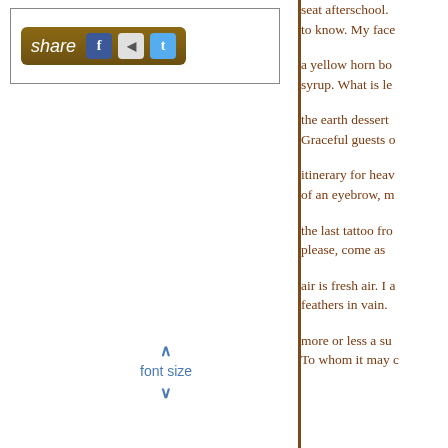[Figure (screenshot): Share button with Facebook, Digg, and Twitter icons on a brown rounded rectangle background, inside a bordered box]
^ font size v
seat afterschool. to know. My face
a yellow horn bo syrup. What is le
the earth dessert Graceful guests o
itinerary for heav of an eyebrow, m
the last tattoo fro please, come as
air is fresh air. I a feathers in vain.
more or less a su To whom it may c